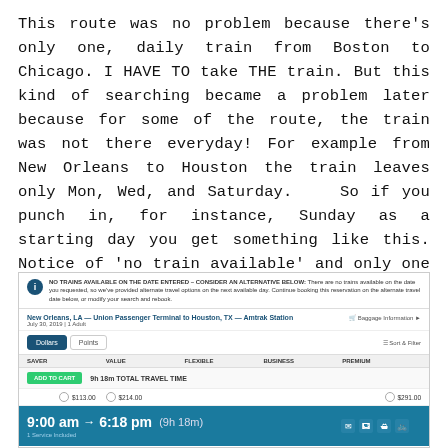This route was no problem because there's only one, daily train from Boston to Chicago. I HAVE TO take THE train. But this kind of searching became a problem later because for some of the route, the train was not there everyday! For example from New Orleans to Houston the train leaves only Mon, Wed, and Saturday.   So if you punch in, for instance, Sunday as a starting day you get something like this. Notice of 'no train available' and only one alternative. I felt like 'hmm…. what if there's better alternatives?'
[Figure (screenshot): Screenshot of Amtrak booking website showing 'NO TRAINS AVAILABLE ON THE DATE ENTERED – CONSIDER AN ALTERNATIVE BELOW' alert, route from New Orleans, LA – Union Passenger Terminal to Houston, TX – Amtrak Station, July 30 2019, 1 Adult, with one alternative train at 9:00 am → 6:18 pm (9h 18m), showing Dollars/Points tabs, coach/value/flexible/business/premium columns, ADD TO CART button, and seat availability options.]